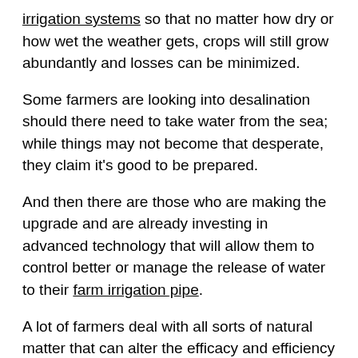irrigation systems so that no matter how dry or how wet the weather gets, crops will still grow abundantly and losses can be minimized.
Some farmers are looking into desalination should there need to take water from the sea; while things may not become that desperate, they claim it's good to be prepared.
And then there are those who are making the upgrade and are already investing in advanced technology that will allow them to control better or manage the release of water to their farm irrigation pipe.
A lot of farmers deal with all sorts of natural matter that can alter the efficacy and efficiency of irrigation systems, hence it's crucial for the irrigation equipment or materials to be top quality.